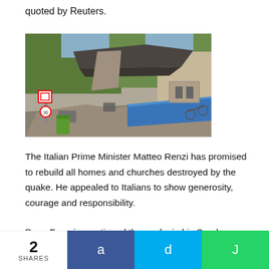quoted by Reuters.
[Figure (photo): Photograph of earthquake damage showing a collapsed building with rubble, debris, and a blue tarp covering parts of the destruction. Trees and road signs visible in background.]
The Italian Prime Minister Matteo Renzi has promised to rebuild all homes and churches destroyed by the quake. He appealed to Italians to show generosity, courage and responsibility.
Pope Francis mentioned the quake in his Sunday blessing in
2 SHARES  a  d  J